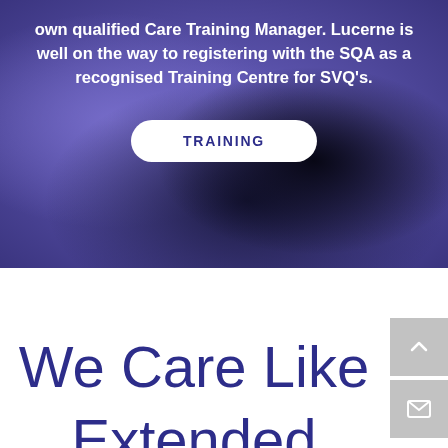own qualified Care Training Manager. Lucerne is well on the way to registering with the SQA as a recognised Training Centre for SVQ's.
TRAINING
[Figure (screenshot): Purple/blue blurred hero background section with dark silhouette]
We Care Like
[Figure (other): Grey scroll-up button with chevron icon]
[Figure (other): Grey mail/envelope button with envelope icon]